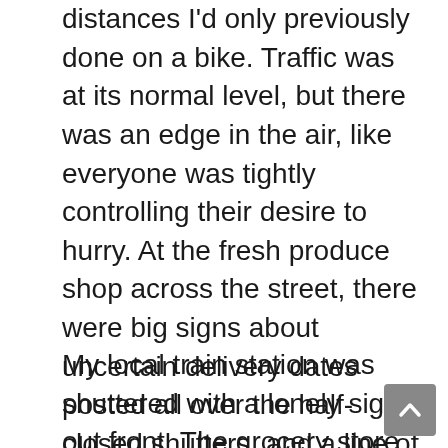distances I'd only previously done on a bike. Traffic was at its normal level, but there was an edge in the air, like everyone was tightly controlling their desire to hurry. At the fresh produce shop across the street, there were big signs about uncertain delivery dates posted all over the half-closed shutters, and a line of people was being allowed in an hour earlier than usual. The local 7-11 was rationing bottles of liquid to one per person, and the counters were devoid of oden and nikuman machines—which I presume to be a power-saving effort.
My local train station was shuttered with a lonely sign out front. The grocery store nearby actually had a full supply of meat and reasonably stocked shelves, but the lines trailed through the entire store. I even discovered a shop that specializes in rice thanks to the appropriately moderate line out the front. But the counters also were not stocked in...